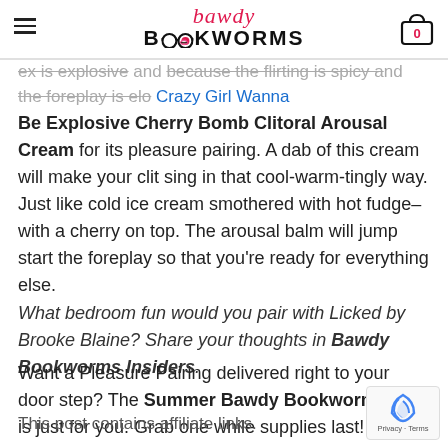Bawdy Bookworms
ex is explosive and because the flirting is spicy and the foreplay is elo... Crazy Girl Wanna Be Explosive Cherry Bomb Clitoral Arousal Cream for its pleasure pairing. A dab of this cream will make your clit sing in that cool-warm-tingly way. Just like cold ice cream smothered with hot fudge–with a cherry on top. The arousal balm will jump start the foreplay so that you're ready for everything else.
What bedroom fun would you pair with Licked by Brooke Blaine? Share your thoughts in Bawdy Bookworms Insiders.
Want a Pleasure Pairing delivered right to your door step? The Summer Bawdy Bookworms Box is just for you. Grab one while supplies last!
This post contains affiliate links.